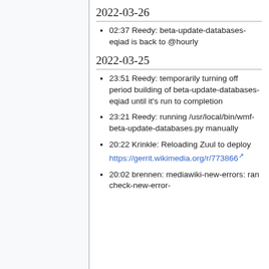2022-03-26
02:37 Reedy: beta-update-databases-eqiad is back to @hourly
2022-03-25
23:51 Reedy: temporarily turning off period building of beta-update-databases-eqiad until it's run to completion
23:21 Reedy: running /usr/local/bin/wmf-beta-update-databases.py manually
20:22 Krinkle: Reloading Zuul to deploy https://gerrit.wikimedia.org/r/773866
20:02 brennen: mediawiki-new-errors: ran check-new-error-